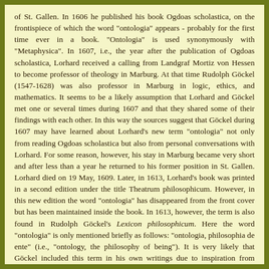of St. Gallen. In 1606 he published his book Ogdoas scholastica, on the frontispiece of which the word "ontologia" appears - probably for the first time ever in a book. "Ontologia" is used synonymously with "Metaphysica". In 1607, i.e., the year after the publication of Ogdoas scholastica, Lorhard received a calling from Landgraf Mortiz von Hessen to become professor of theology in Marburg. At that time Rudolph Göckel (1547-1628) was also professor in Marburg in logic, ethics, and mathematics. It seems to be a likely assumption that Lorhard and Göckel met one or several times during 1607 and that they shared some of their findings with each other. In this way the sources suggest that Göckel during 1607 may have learned about Lorhard's new term "ontologia" not only from reading Ogdoas scholastica but also from personal conversations with Lorhard. For some reason, however, his stay in Marburg became very short and after less than a year he returned to his former position in St. Gallen. Lorhard died on 19 May, 1609. Later, in 1613, Lorhard's book was printed in a second edition under the title Theatrum philosophicum. However, in this new edition the word "ontologia" has disappeared from the front cover but has been maintained inside the book. In 1613, however, the term is also found in Rudolph Göckel's Lexicon philosophicum. Here the word "ontologia" is only mentioned briefly as follows: "ontologia, philosophia de ente" (i.e., "ontology, the philosophy of being"). It is very likely that Göckel included this term in his own writings due to inspiration from Lorhard."
October 27, 2006: Dr. Marco Lamanna, Bari University (Italy) send me some important details: